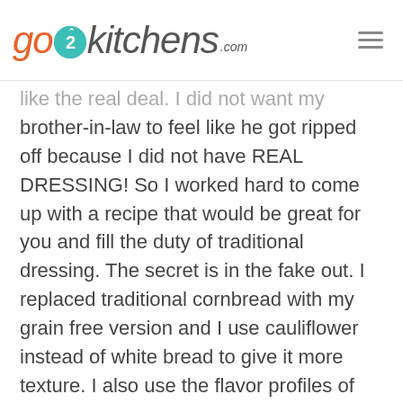go2kitchens.com
like the real deal.  I did not want my brother-in-law to feel like he got ripped off because I did not have REAL DRESSING!  So I worked hard to come up with a recipe that would be great for you and fill the duty of traditional dressing.  The secret is in the fake out.  I replaced traditional cornbread with my grain free version and I use cauliflower instead of white bread to give it more texture.  I also use the flavor profiles of feta cheese to pump up the flavor, you will not believe the depth that one ingredient